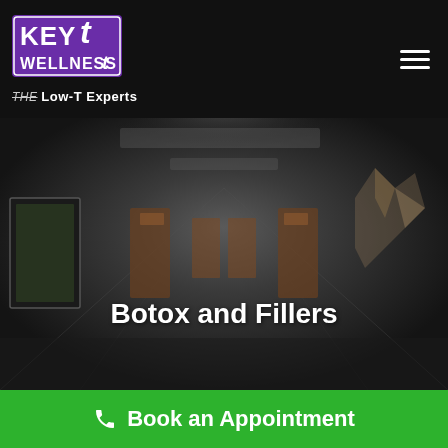[Figure (logo): Key-T Wellness logo with purple background and stylized text, tagline THE Low-T Experts]
[Figure (photo): Dark-toned interior hallway of a medical/wellness clinic with artwork on walls and decorative elements]
Botox and Fillers
Book an Appointment